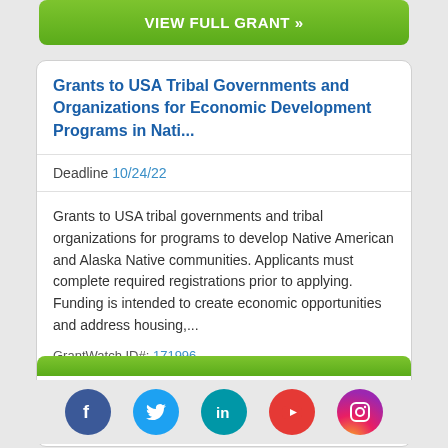VIEW FULL GRANT »
Grants to USA Tribal Governments and Organizations for Economic Development Programs in Nati...
Deadline 10/24/22
Grants to USA tribal governments and tribal organizations for programs to develop Native American and Alaska Native communities. Applicants must complete required registrations prior to applying. Funding is intended to create economic opportunities and address housing,...
GrantWatch ID#: 171996
VIEW FULL GRANT »
[Figure (infographic): Social media icons row: Facebook (blue), Twitter (light blue), LinkedIn (teal), YouTube (red), Instagram (pink/red gradient)]